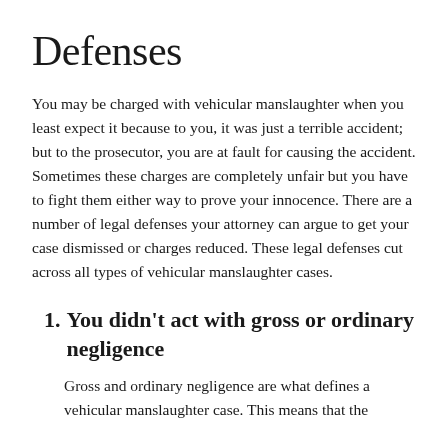Defenses
You may be charged with vehicular manslaughter when you least expect it because to you, it was just a terrible accident; but to the prosecutor, you are at fault for causing the accident. Sometimes these charges are completely unfair but you have to fight them either way to prove your innocence. There are a number of legal defenses your attorney can argue to get your case dismissed or charges reduced. These legal defenses cut across all types of vehicular manslaughter cases.
1. You didn’t act with gross or ordinary negligence
Gross and ordinary negligence are what defines a vehicular manslaughter case. This means that the